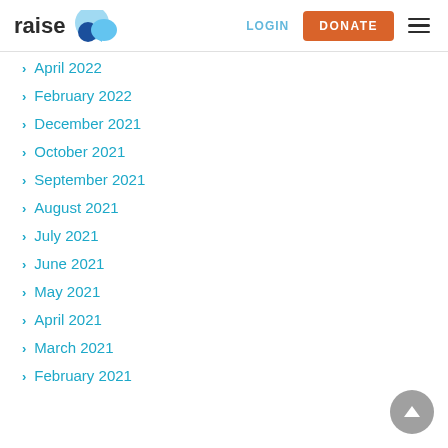raise [logo] | LOGIN | DONATE
April 2022
February 2022
December 2021
October 2021
September 2021
August 2021
July 2021
June 2021
May 2021
April 2021
March 2021
February 2021